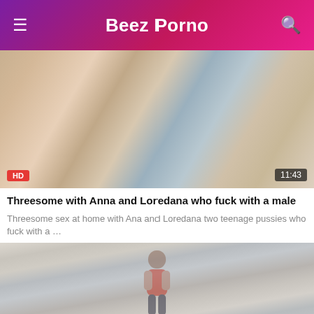Beez Porno
[Figure (photo): Thumbnail of adult video with HD badge and 11:43 duration]
Threesome with Anna and Loredana who fuck with a male
Threesome sex at home with Ana and Loredana two teenage pussies who fuck with a …
[Figure (photo): Thumbnail of adult video showing woman in kitchen with red top]